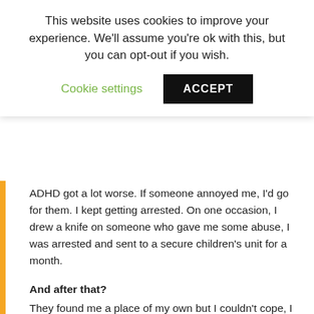This website uses cookies to improve your experience. We'll assume you're ok with this, but you can opt-out if you wish.
Cookie settings  ACCEPT
ADHD got a lot worse. If someone annoyed me, I'd go for them. I kept getting arrested. On one occasion, I drew a knife on someone who gave me some abuse, I was arrested and sent to a secure children's unit for a month.
And after that?
They found me a place of my own but I couldn't cope, I started self-harming and carrying knives and fake firearms in public. I got put in a youth offending centre and then on probation. And that's when I started to change.
Why was that?
I got sick of being arrested and I knew it was having a bad impact on my 13 year old brother so I wanted to sort myself